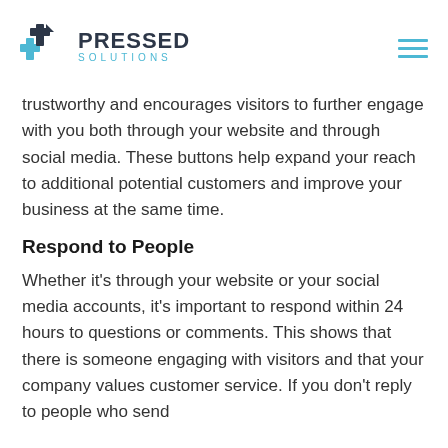[Figure (logo): Pressed Solutions logo with a blue cross/arrow icon on the left and the text PRESSED SOLUTIONS to the right, plus a hamburger menu icon in the top right corner]
trustworthy and encourages visitors to further engage with you both through your website and through social media. These buttons help expand your reach to additional potential customers and improve your business at the same time.
Respond to People
Whether it’s through your website or your social media accounts, it’s important to respond within 24 hours to questions or comments. This shows that there is someone engaging with visitors and that your company values customer service. If you don’t reply to people who send